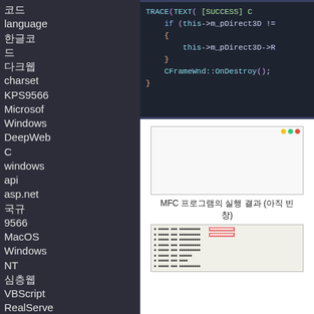코드 language 한글코드 다크웹 charset KPS9566 Microsoft Windows DeepWeb C windows api asp.net 국규 9566 MacOS Windows NT 심층웹 VBScript RealServer RealMedia hlp
[Figure (screenshot): Dark-themed code editor showing C++ MFC OnDestroy code with TRACE, if statement checking m_pDirect3D, and CFrameWnd::OnDestroy() call]
[Figure (screenshot): Blank white MFC application window with minimize/maximize/close buttons]
MFC 프로그램의 실행 결과 (아직 빈 창)
[Figure (screenshot): MFC debugger output window showing rows of text with some rows highlighted in red/pink]